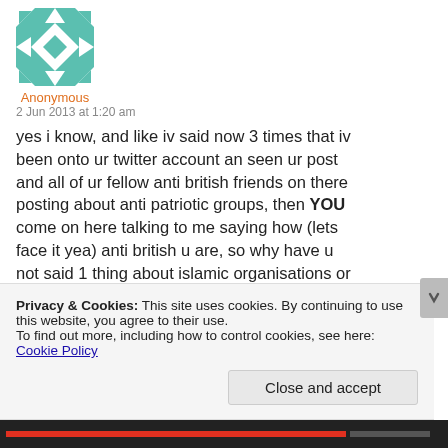[Figure (illustration): User avatar — teal/white geometric quilt pattern square]
Anonymous
2 Jun 2013 at 1:20 am
yes i know, and like iv said now 3 times that iv been onto ur twitter account an seen ur post and all of ur fellow anti british friends on there posting about anti patriotic groups, then YOU come on here talking to me saying how (lets face it yea) anti british u are, so why have u not said 1 thing about islamic organisations or anything islamic atall actually?
i hope u can understand this question this time im getting tired of repeating myself to u
Privacy & Cookies: This site uses cookies. By continuing to use this website, you agree to their use.
To find out more, including how to control cookies, see here: Cookie Policy
Close and accept